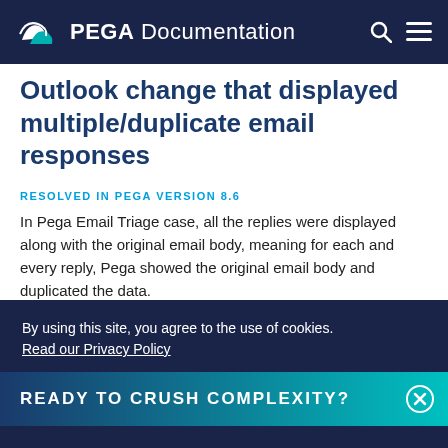PEGA Documentation
Outlook change that displayed multiple/duplicate email responses
RESOLVED IN PEGA VERSION 8.6
In Pega Email Triage case, all the replies were displayed along with the original email body, meaning for each and every reply, Pega showed the original email body and duplicated the data.
READY TO CRUSH COMPLEXITY?
By using this site, you agree to the use of cookies. Read our Privacy Policy